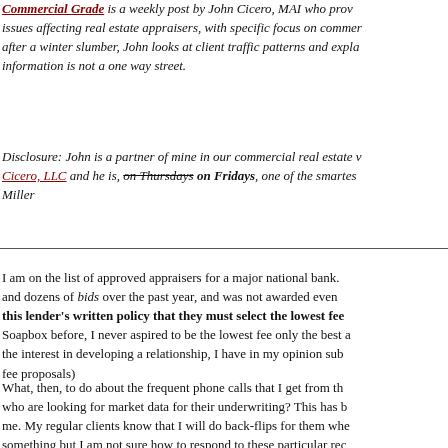Commercial Grade is a weekly post by John Cicero, MAI who provides issues affecting real estate appraisers, with specific focus on commercial. after a winter slumber, John looks at client traffic patterns and explains information is not a one way street.
Disclosure: John is a partner of mine in our commercial real estate venture, Cicero, LLC and he is, on Thursdays [strikethrough] on Fridays, one of the smartest... Miller
I am on the list of approved appraisers for a major national bank. and dozens of bids over the past year, and was not awarded even this lender's written policy that they must select the lowest fee Soapbox before, I never aspired to be the lowest fee only the best a the interest in developing a relationship, I have in my opinion sub fee proposals)
What, then, to do about the frequent phone calls that I get from the who are looking for market data for their underwriting? This has been me. My regular clients know that I will do back-flips for them when something but I am not sure how to respond to these particular rec